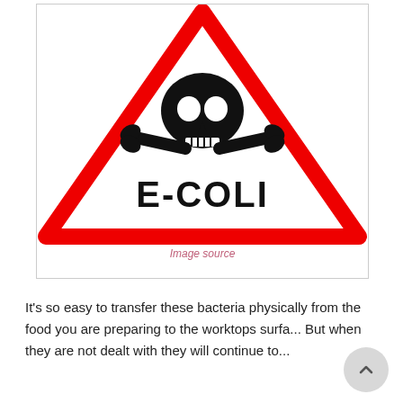[Figure (illustration): Warning triangle sign with skull and crossbones and text E-COLI in black on white background, red triangle border]
Image source
It's so easy to transfer these bacteria physically from the food you are preparing to the worktops surfa... But when they are not dealt with they will continue to...